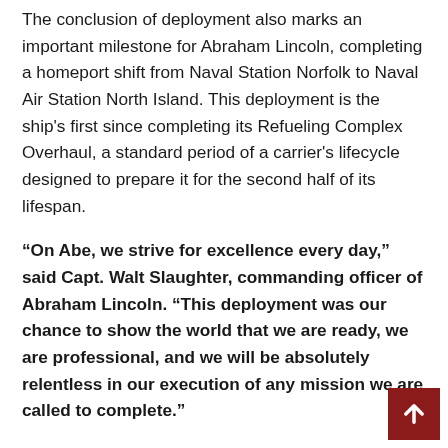The conclusion of deployment also marks an important milestone for Abraham Lincoln, completing a homeport shift from Naval Station Norfolk to Naval Air Station North Island. This deployment is the ship's first since completing its Refueling Complex Overhaul, a standard period of a carrier's lifecycle designed to prepare it for the second half of its lifespan.
“On Abe, we strive for excellence every day,” said Capt. Walt Slaughter, commanding officer of Abraham Lincoln. “This deployment was our chance to show the world that we are ready, we are professional, and we will be absolutely relentless in our execution of any mission we are called to complete.”